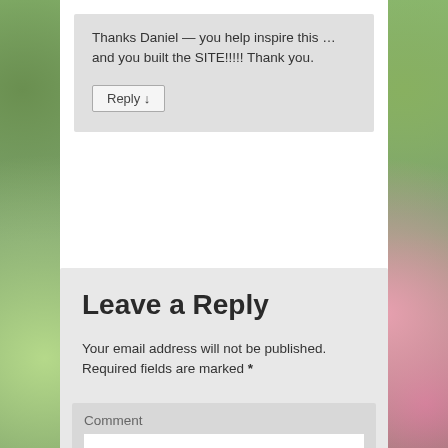Thanks Daniel — you help inspire this … and you built the SITE!!!!! Thank you.
Reply ↓
Leave a Reply
Your email address will not be published. Required fields are marked *
Comment